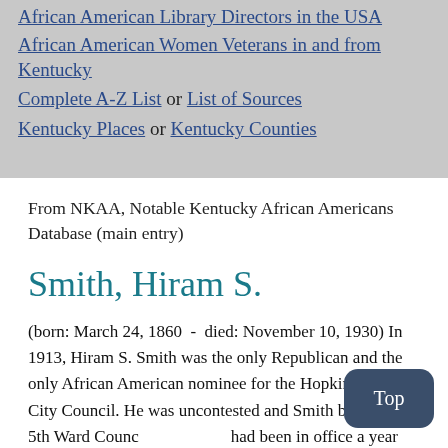African American Library Directors in the USA
African American Women Veterans in and from Kentucky
Complete A-Z List or List of Sources
Kentucky Places or Kentucky Counties
From NKAA, Notable Kentucky African Americans Database (main entry)
Smith, Hiram S.
(born: March 24, 1860  -  died: November 10, 1930) In 1913, Hiram S. Smith was the only Republican and the only African American nominee for the Hopkinsville City Council. He was uncontested and Smith became the 5th Ward Counc... had been in office a year when his wife, Mary Smit... 1915. She had been ill for a time prior to her death.